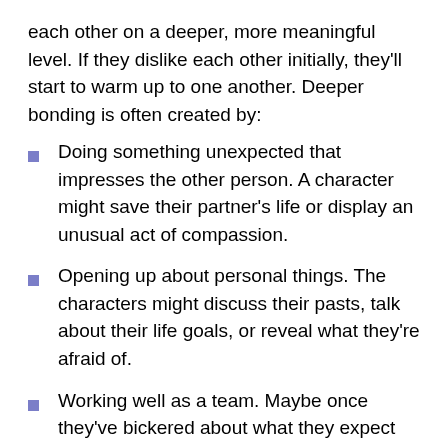each other on a deeper, more meaningful level. If they dislike each other initially, they'll start to warm up to one another. Deeper bonding is often created by:
Doing something unexpected that impresses the other person. A character might save their partner's life or display an unusual act of compassion.
Opening up about personal things. The characters might discuss their pasts, talk about their life goals, or reveal what they're afraid of.
Working well as a team. Maybe once they've bickered about what they expect from each other, the next time they face a tough situation